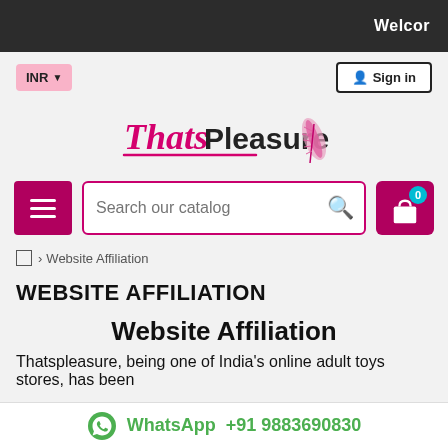Welcor
INR ▼
Sign in
[Figure (logo): ThatsPleasure logo with pink cursive 'Thats' and bold 'Pleasure' text with a pink feather graphic]
[Figure (other): Search bar with hamburger menu and cart icon]
Home > Website Affiliation
WEBSITE AFFILIATION
Website Affiliation
Thatspleasure, being one of India's online adult toys stores, has been
WhatsApp +91 9883690830